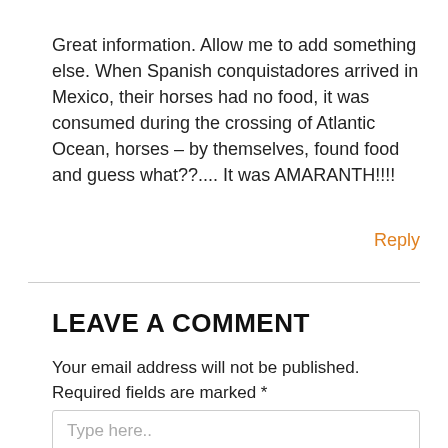Great information. Allow me to add something else. When Spanish conquistadores arrived in Mexico, their horses had no food, it was consumed during the crossing of Atlantic Ocean, horses – by themselves, found food and guess what??.... It was AMARANTH!!!!
Reply
LEAVE A COMMENT
Your email address will not be published. Required fields are marked *
Type here..